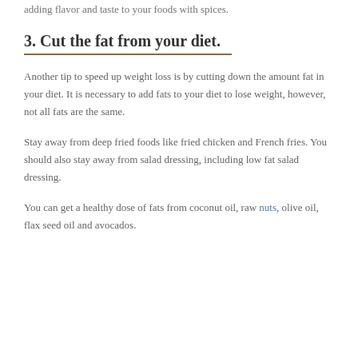adding flavor and taste to your foods with spices.
3. Cut the fat from your diet.
Another tip to speed up weight loss is by cutting down the amount fat in your diet. It is necessary to add fats to your diet to lose weight, however, not all fats are the same.
Stay away from deep fried foods like fried chicken and French fries. You should also stay away from salad dressing, including low fat salad dressing.
You can get a healthy dose of fats from coconut oil, raw nuts, olive oil, flax seed oil and avocados.